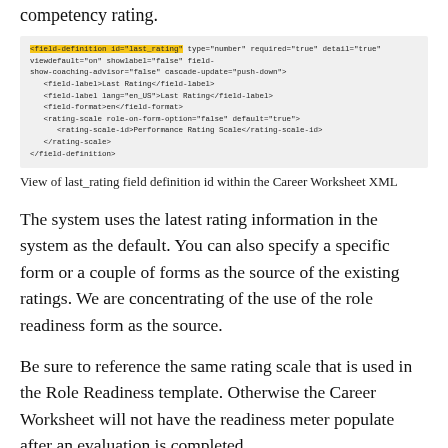competency rating.
[Figure (screenshot): XML code block showing a field-definition element with id='last_rating' (highlighted in yellow), type='number', required='true', detail='true', viewdefault='on', showlabel='false', field-show-coaching-advisor='false', cascade-update='push-down', containing field-label, field-format, and rating-scale child elements with rating-scale-id='Performance Rating Scale'.]
View of last_rating field definition id within the Career Worksheet XML
The system uses the latest rating information in the system as the default. You can also specify a specific form or a couple of forms as the source of the existing ratings. We are concentrating of the use of the role readiness form as the source.
Be sure to reference the same rating scale that is used in the Role Readiness template. Otherwise the Career Worksheet will not have the readiness meter populate after an evaluation is completed.